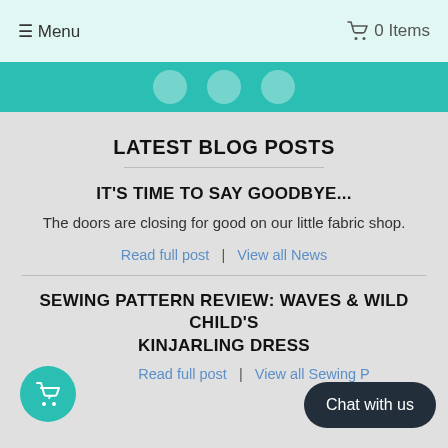≡ Menu   🛒 0 Items
[Figure (illustration): Teal navigation bar with three circular social media/navigation icons]
LATEST BLOG POSTS
IT'S TIME TO SAY GOODBYE...
The doors are closing for good on our little fabric shop.
Read full post  |  View all News
SEWING PATTERN REVIEW: WAVES & WILD CHILD'S KINJARLING DRESS
Read full post  |  View all Sewing P...